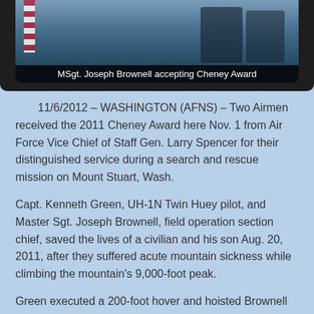[Figure (photo): Photo of MSgt. Joseph Brownell accepting the Cheney Award, with a dark background and partial flag visible. Caption overlay reads 'MSgt. Joseph Brownell accepting Cheney Award'.]
11/6/2012 – WASHINGTON (AFNS) – Two Airmen received the 2011 Cheney Award here Nov. 1 from Air Force Vice Chief of Staff Gen. Larry Spencer for their distinguished service during a search and rescue mission on Mount Stuart, Wash.
Capt. Kenneth Green, UH-1N Twin Huey pilot, and Master Sgt. Joseph Brownell, field operation section chief, saved the lives of a civilian and his son Aug. 20, 2011, after they suffered acute mountain sickness while climbing the mountain's 9,000-foot peak.
Green executed a 200-foot hover and hoisted Brownell down to access the climbers. Brownell then stabilized both people and extracted them by hoist. Near maximum